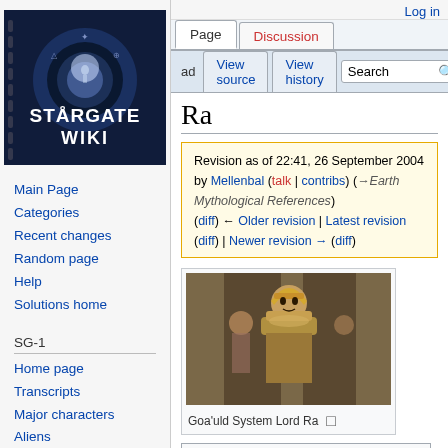[Figure (logo): Stargate Wiki logo — dark blue background with stylized stargate and text STARGATE WIKI]
Log in
Main Page
Categories
Recent changes
Random page
Help
Solutions home
SG-1
Home page
Transcripts
Major characters
Aliens
Planets
Ra
Revision as of 22:41, 26 September 2004 by Mellenbal (talk | contribs) (→Earth Mythological References) (diff) ← Older revision | Latest revision (diff) | Newer revision → (diff)
[Figure (photo): Photo of Goa'uld System Lord Ra character from Stargate]
Goa'uld System Lord Ra
Contents [hide]
1 Earth Culture of Origin